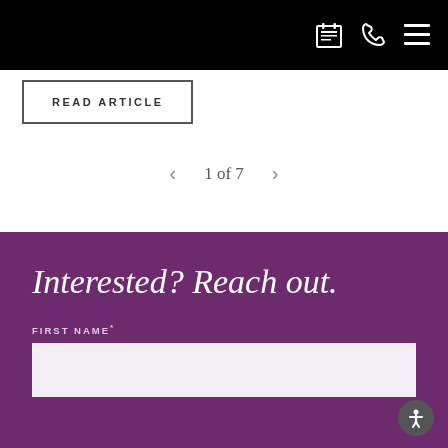[navigation icons: calendar, phone, menu]
READ ARTICLE
1 of 7
Interested? Reach out.
FIRST NAME*